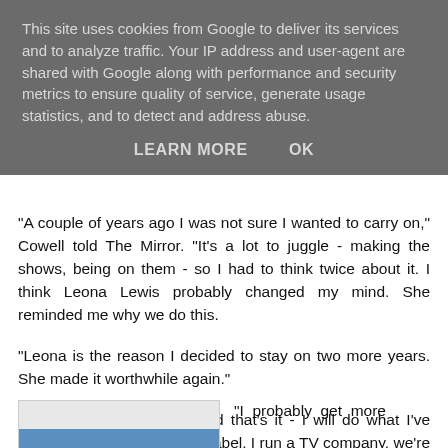This site uses cookies from Google to deliver its services and to analyze traffic. Your IP address and user-agent are shared with Google along with performance and security metrics to ensure quality of service, generate usage statistics, and to detect and address abuse.
LEARN MORE    OK
"A couple of years ago I was not sure I wanted to carry on," Cowell told The Mirror. "It's a lot to juggle - making the shows, being on them - so I had to think twice about it. I think Leona Lewis probably changed my mind. She reminded me why we do this.
"Leona is the reason I decided to stay on two more years. She made it worthwhile again."
He added: "Three years and that's it - I will do what I've always done. I run a record label, I run a TV company, we're making movies now - I love that part of my life.
[Figure (photo): Partial image of a person or scene, partially visible at bottom left]
"I probably get more